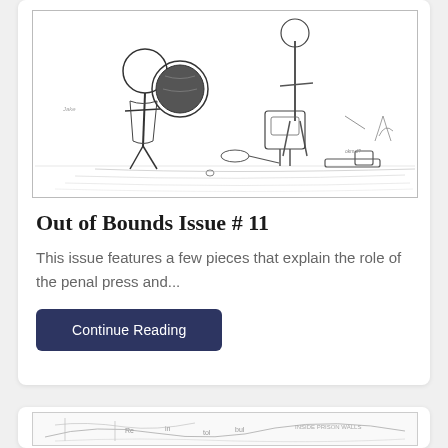[Figure (illustration): Black and white hand-drawn cartoon/sketch showing a figure in a suit holding a large spherical object, with scattered tools and items on the ground around them. Another figure visible in background.]
Out of Bounds Issue # 11
This issue features a few pieces that explain the role of the penal press and...
Continue Reading
[Figure (illustration): Partial view of another black and white sketch/cartoon at the bottom of the page, appearing to show some kind of scene with text. Only partially visible.]